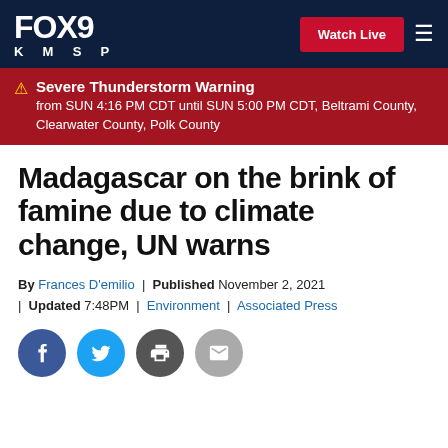FOX 9 KMSP | Watch Live
Severe Thunderstorm Warning from SUN 4:16 PM CDT until SUN 5:00 PM CDT, Beltrami County, Clearwater County, Polk County
Madagascar on the brink of famine due to climate change, UN warns
By Frances D'emilio | Published November 2, 2021 | Updated 7:48PM | Environment | Associated Press
[Figure (other): Social sharing buttons: Facebook, Twitter, Print, Email]